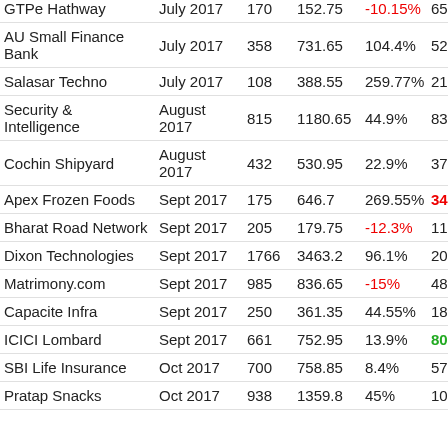| Company | IPO Date | Issue Price | CMP | Returns | Rec Price |
| --- | --- | --- | --- | --- | --- |
| GTPe Hathway | July 2017 | 170 | 152.75 | -10.15% | 65 |
| AU Small Finance Bank | July 2017 | 358 | 731.65 | 104.4% | 523 |
| Salasar Techno | July 2017 | 108 | 388.55 | 259.77% | 210 |
| Security & Intelligence | August 2017 | 815 | 1180.65 | 44.9% | 835 |
| Cochin Shipyard | August 2017 | 432 | 530.95 | 22.9% | 379 |
| Apex Frozen Foods | Sept 2017 | 175 | 646.7 | 269.55% | 340 |
| Bharat Road Network | Sept 2017 | 205 | 179.75 | -12.3% | 116 |
| Dixon Technologies | Sept 2017 | 1766 | 3463.2 | 96.1% | 2084 |
| Matrimony.com | Sept 2017 | 985 | 836.65 | -15% | 480 |
| Capacite Infra | Sept 2017 | 250 | 361.35 | 44.55% | 180 |
| ICICI Lombard | Sept 2017 | 661 | 752.95 | 13.9% | 800 |
| SBI Life Insurance | Oct 2017 | 700 | 758.85 | 8.4% | 570 |
| Pratap Snacks | Oct 2017 | 938 | 1359.8 | 45% | 1004 |